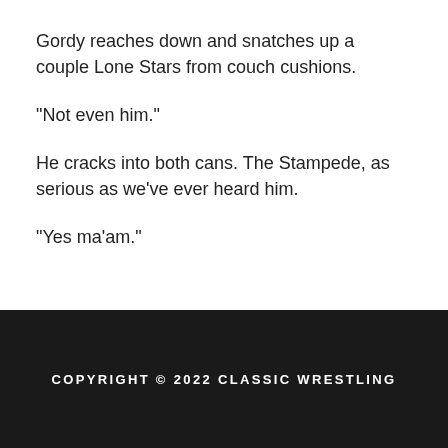Gordy reaches down and snatches up a couple Lone Stars from couch cushions.
“Not even him.”
He cracks into both cans. The Stampede, as serious as we’ve ever heard him.
“Yes ma’am.”
COPYRIGHT © 2022 CLASSIC WRESTLING